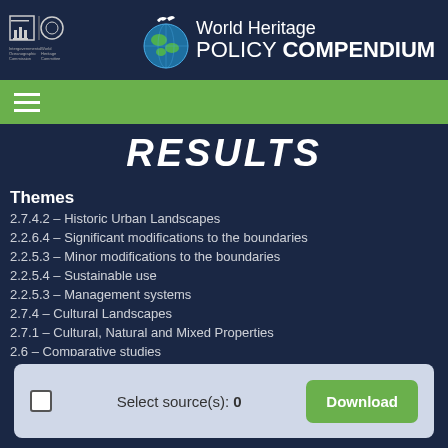World Heritage POLICY COMPENDIUM
RESULTS
Themes
2.7.4.2 – Historic Urban Landscapes
2.2.6.4 – Significant modifications to the boundaries
2.2.5.3 – Minor modifications to the boundaries
2.2.5.4 – Sustainable use
2.2.5.3 – Management systems
2.7.4 – Cultural Landscapes
2.7.1 – Cultural, Natural and Mixed Properties
2.6 – Comparative studies
2.4 – Upstream Process
2.2 – Outstanding Universal Value
Select source(s): 0
Download